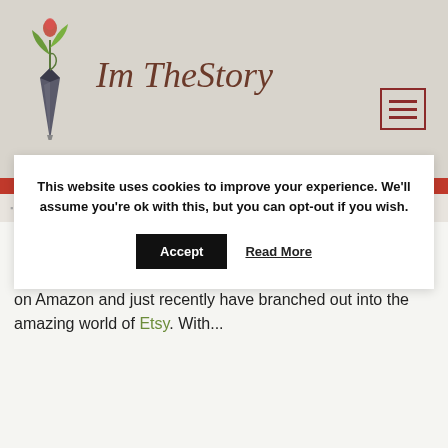[Figure (logo): ImTheStory logo with fountain pen and plant/flower, with cursive text 'Im TheStory']
This website uses cookies to improve your experience. We'll assume you're ok with this, but you can opt-out if you wish. Accept Read More
NEWS  CLASSIC BOOKS, COMPETITION, PERSONALIZED GIFTS
ImTheStory™ has been faithfully publishing wonderful classics since 2016. We sell from our Website, Facebook, on Amazon and just recently have branched out into the amazing world of Etsy. With...